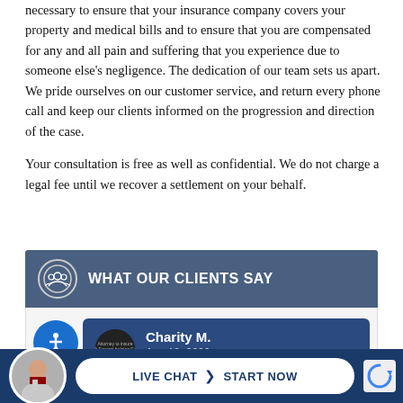necessary to ensure that your insurance company covers your property and medical bills and to ensure that you are compensated for any and all pain and suffering that you experience due to someone else's negligence. The dedication of our team sets us apart. We pride ourselves on our customer service, and return every phone call and keep our clients informed on the progression and direction of the case.
Your consultation is free as well as confidential. We do not charge a legal fee until we recover a settlement on your behalf.
WHAT OUR CLIENTS SAY
[Figure (screenshot): Client review card showing Charity M., Aug 18, 2022, on a dark blue background with reviewer avatar]
[Figure (infographic): Live chat bar with attorney photo, LIVE CHAT and START NOW button on dark blue background]